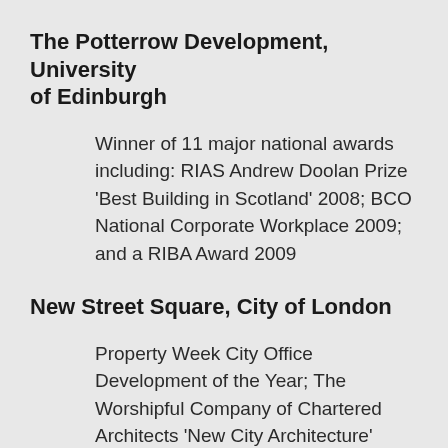The Potterrow Development, University of Edinburgh
Winner of 11 major national awards including: RIAS Andrew Doolan Prize ‘Best Building in Scotland’ 2008; BCO National Corporate Workplace 2009; and a RIBA Award 2009
New Street Square, City of London
Property Week City Office Development of the Year; The Worshipful Company of Chartered Architects ‘New City Architecture’ Award 2009; RIBA Regional Award 2009; Civic Trust Award 2009; and Building Services Major Project of the Year